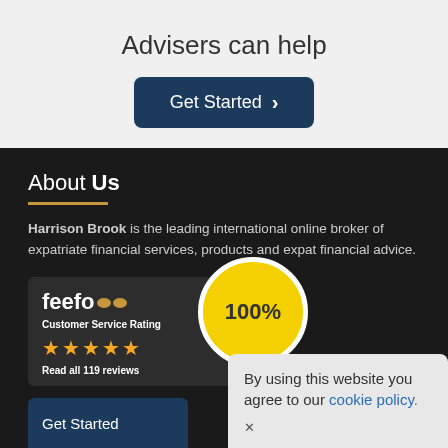Advisers can help
[Figure (other): Get Started button with dark blue background and right-pointing arrow]
About Us
Harrison Brook is the leading international online broker of expatriate financial services, products and expat financial advice.
[Figure (other): Feefo Customer Service Rating badge with 5 stars and 100% circle, showing Read all 119 reviews]
[Figure (other): Cookie policy popup: By using this website you agree to our cookie policy.]
[Figure (other): Get Started button at bottom]